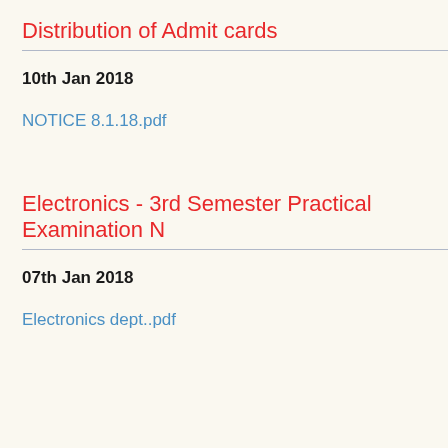Distribution of Admit cards
10th Jan 2018
NOTICE 8.1.18.pdf
Electronics - 3rd Semester Practical Examination N
07th Jan 2018
Electronics dept..pdf